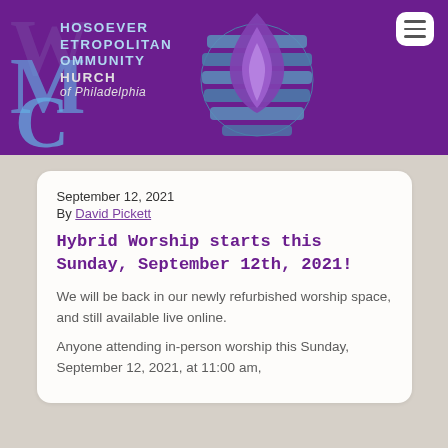[Figure (logo): Whosoever Metropolitan Community Church of Philadelphia logo with purple background, large overlapping W, M, C letters and flame/globe icon]
September 12, 2021
By David Pickett
Hybrid Worship starts this Sunday, September 12th, 2021!
We will be back in our newly refurbished worship space, and still available live online.
Anyone attending in-person worship this Sunday, September 12, 2021, at 11:00 am,